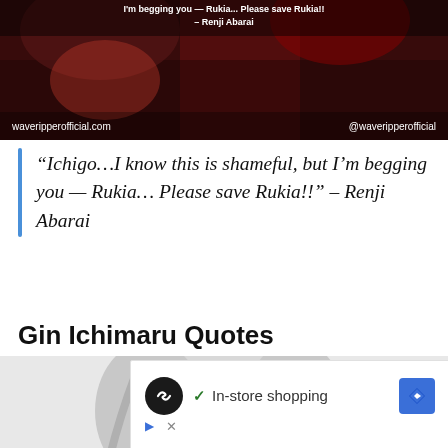[Figure (illustration): Dark-toned manga illustration showing a character with red hair and dramatic lighting. Text overlay reads: 'I'm begging you — Rukia... Please save Rukia!! – Renji Abarai'. Bottom left watermark: waveripperofficial.com, bottom right: @waveripperofficial]
“Ichigo…I know this is shameful, but I’m begging you — Rukia… Please save Rukia!!” – Renji Abarai
Gin Ichimaru Quotes
[Figure (illustration): Anime-style illustration of Gin Ichimaru with white/silver hair and squinting eyes, upper body shown against a light gray background.]
[Figure (screenshot): Advertisement overlay showing a black circular logo with infinity-like symbol, a checkmark with 'In-store shopping' text, a blue diamond navigation icon, play button icon, and X close icon.]